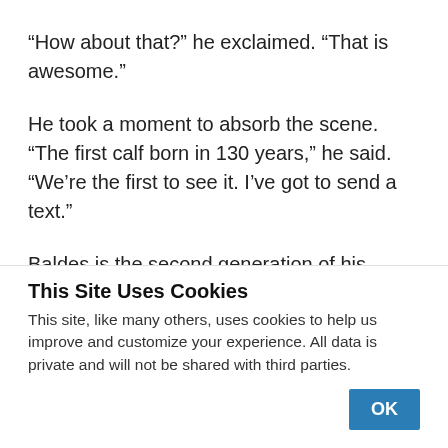“How about that?” he exclaimed. “That is awesome.”
He took a moment to absorb the scene. “The first calf born in 130 years,” he said. “We’re the first to see it. I’ve got to send a text.”
Baldes is the second generation of his family that’s worked to restore buffalo, as tribal members call Bison bison, to the reservation. His father, Richard,
This Site Uses Cookies
This site, like many others, uses cookies to help us improve and customize your experience. All data is private and will not be shared with third parties.